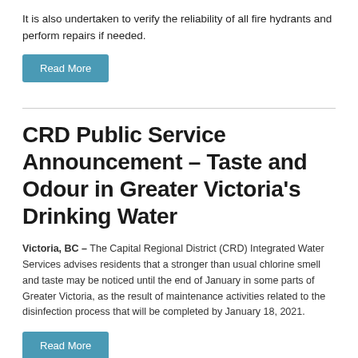It is also undertaken to verify the reliability of all fire hydrants and perform repairs if needed.
Read More
CRD Public Service Announcement – Taste and Odour in Greater Victoria's Drinking Water
Victoria, BC – The Capital Regional District (CRD) Integrated Water Services advises residents that a stronger than usual chlorine smell and taste may be noticed until the end of January in some parts of Greater Victoria, as the result of maintenance activities related to the disinfection process that will be completed by January 18, 2021.
Read More